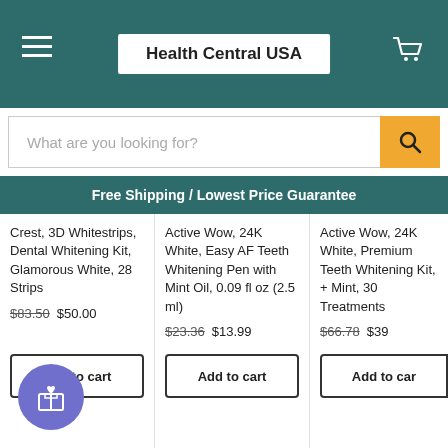Health Central USA
What are you looking for?
Free Shipping / Lowest Price Guarantee
Crest, 3D Whitestrips, Dental Whitening Kit, Glamorous White, 28 Strips $83.50  $50.00
Active Wow, 24K White, Easy AF Teeth Whitening Pen with Mint Oil, 0.09 fl oz (2.5 ml) $23.36  $13.99
Active Wow, 24K White, Premium Teeth Whitening Kit, + Mint, 30 Treatments $66.78  $39...
Add to cart
Add to cart
Add to cart